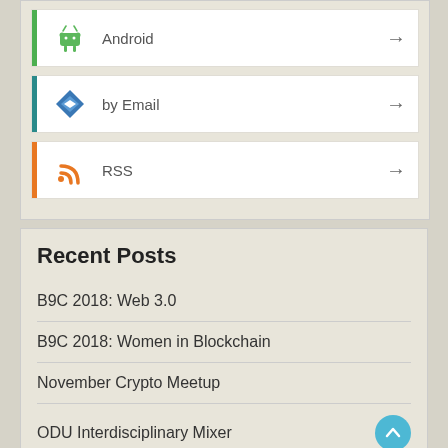Android
by Email
RSS
Recent Posts
B9C 2018: Web 3.0
B9C 2018: Women in Blockchain
November Crypto Meetup
ODU Interdisciplinary Mixer
Healthcare credentialing project